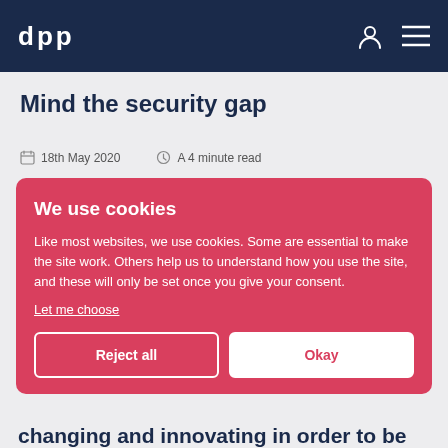dpp
Mind the security gap
18th May 2020   A 4 minute read
We use cookies

Like most websites, we use cookies. Some are essential to make the site work. Others help us to understand how you use the site, and these will only be set once you give your consent.
Let me choose

[Reject all] [Okay]
changing and innovating in order to be